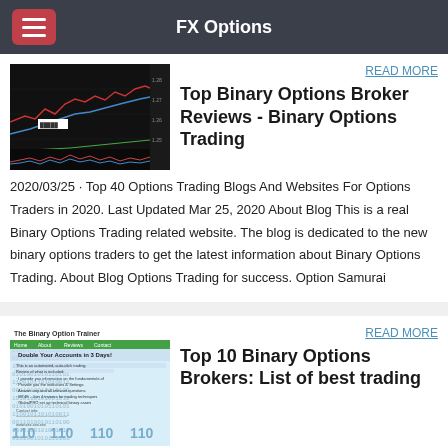FX Options
[Figure (screenshot): Trading chart screenshot showing candlestick/line chart with red and blue lines on dark background]
Top Binary Options Broker Reviews - Binary Options Trading
2020/03/25 · Top 40 Options Trading Blogs And Websites For Options Traders in 2020. Last Updated Mar 25, 2020 About Blog This is a real Binary Options Trading related website. The blog is dedicated to the new binary options traders to get the latest information about Binary Options Trading. About Blog Options Trading for success. Option Samurai
[Figure (screenshot): The Binary Option Trainer website screenshot with green header and binary code background]
Top 10 Binary Options Brokers: List of best trading
Hello i need binary option website for